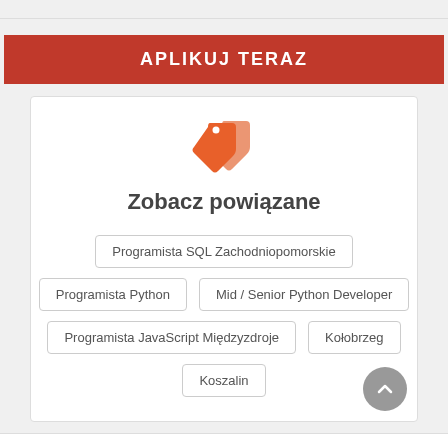APLIKUJ TERAZ
[Figure (illustration): Orange price tag / label icon with two overlapping tags]
Zobacz powiązane
Programista SQL Zachodniopomorskie
Programista Python
Mid / Senior Python Developer
Programista JavaScript Międzyzdroje
Kołobrzeg
Koszalin